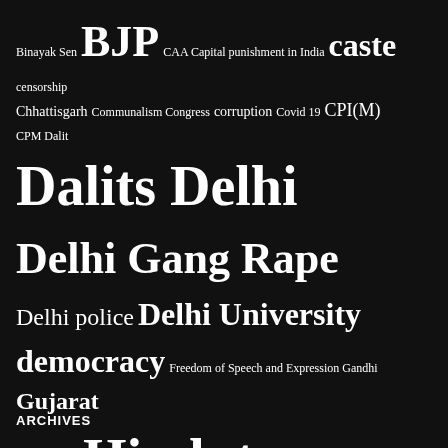[Figure (infographic): Tag cloud on black background featuring topics related to Indian politics, civil rights, and social issues. Words vary in size reflecting frequency/importance. Includes: Binayak Sen, BJP, CAA, Capital punishment in India, caste, censorship, Chhattisgarh, Communalism, Congress, corruption, Covid 19, CPI(M), CPM, Dalit, Dalits, Delhi, Delhi Gang Rape, Delhi police, Delhi University, democracy, Freedom of Speech and Expression, Gandhi, Gujarat, Gujarat 2002, Hindutva, human rights, India, India-Pakistan, Indian Muslims, Internet Censorship in India, Israel, JNU, jnusu, Kanhaiya Kumar, Kashmir, Kashmir human rights, Kerala, Maoists, Modi, Mumbai, Muslims, Nandigram, Narendra Modi, nationalism, nepal, NRC, Pakistan, Palestine, Pinarayi Vijayan, rape, Rohith Vemula, RSS, secularism, sedition, sexual harassment, Smriti Irani, sri lanka, Supreme Court, terrorism, Umar Khalid, Uttar Pradesh, violence against women, We Are All Seditious Now, West Bengal]
ARCHIVES